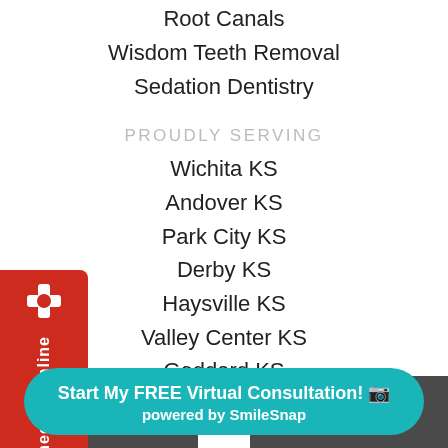Root Canals
Wisdom Teeth Removal
Sedation Dentistry
PROUDLY SERVING
Wichita KS
Andover KS
Park City KS
Derby KS
Haysville KS
Valley Center KS
Goddard KS
Maize KS
Bel Aire KS
Start My FREE Virtual Consultation! 📷
powered by SmileSnap